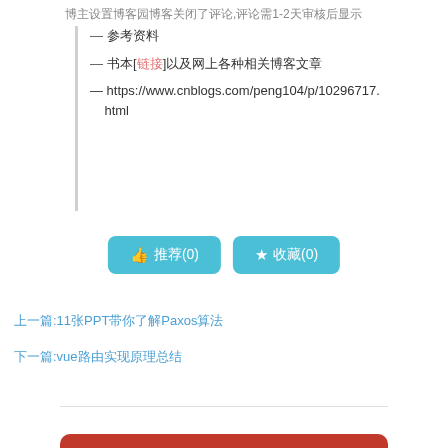— 参考资料
— 书本[链接]以及网上各种相关博客文章
— https://www.cnblogs.com/peng104/p/10296717.html
[Figure (other): Two teal buttons: thumbs up 推荐(0) and star 收藏(0)]
上一篇:11张PPT带你了解Paxos算法
下一篇:vue路由实现原理总结
博主设置博客园博客关闭了评论,评论需1-2天审核后显示
[Figure (other): Red banner at bottom of page]